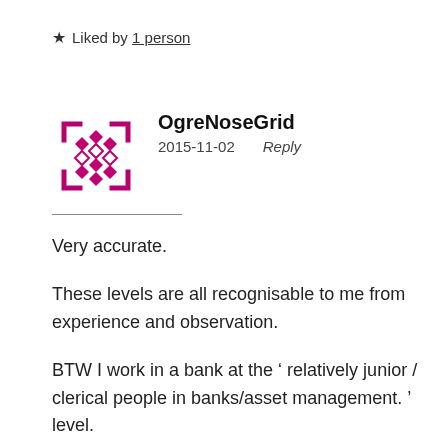★ Liked by 1 person
[Figure (logo): OgreNoseGrid avatar: a pink/magenta geometric diamond cross pattern with corner brackets forming a square frame]
OgreNoseGrid
2015-11-02    Reply
Very accurate.
These levels are all recognisable to me from experience and observation.
BTW I work in a bank at the ' relatively junior / clerical people in banks/asset management. ' level.